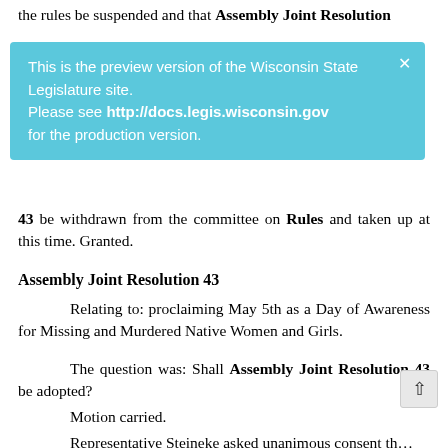the rules be suspended and that Assembly Joint Resolution 4[…]
[Figure (screenshot): Blue notification banner: 'This is the preview version of the Wisconsin State Legislature site. Please see http://docs.legis.wisconsin.gov for the production version.']
43 be withdrawn from the committee on Rules and taken up at this time. Granted.
Assembly Joint Resolution 43
Relating to: proclaiming May 5th as a Day of Awareness for Missing and Murdered Native Women and Girls.
The question was: Shall Assembly Joint Resolution 43 be adopted?
Motion carried.
Representative Steineke asked unanimous consent that the rules be suspended and that Assembly Joint Resoluti[on…]